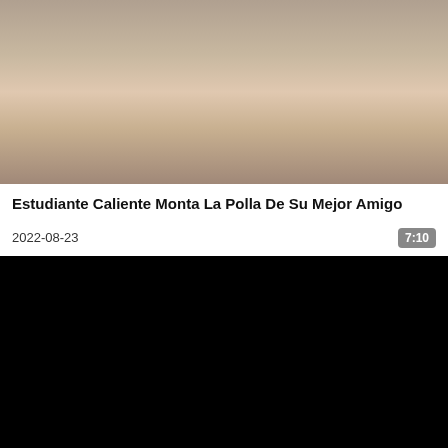[Figure (photo): Video thumbnail showing adult content screenshot]
Estudiante Caliente Monta La Polla De Su Mejor Amigo
2022-08-23
7:10
[Figure (screenshot): Black video player area]